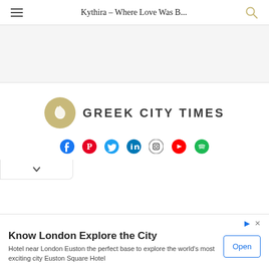Kythira – Where Love Was B...
[Figure (logo): Greek City Times logo with stylized leaf icon and text 'GREEK CITY TIMES']
[Figure (infographic): Social media icons row: Facebook, Pinterest, Twitter, LinkedIn, Instagram, YouTube, Spotify]
Know London Explore the City
Hotel near London Euston the perfect base to explore the world's most exciting city Euston Square Hotel